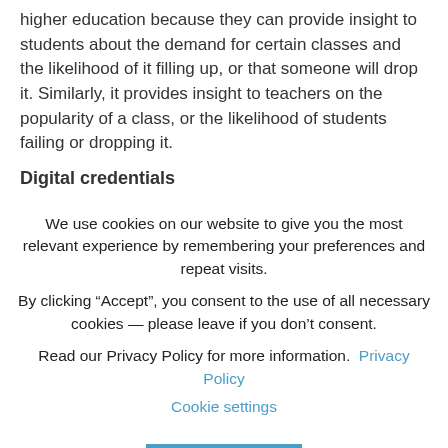higher education because they can provide insight to students about the demand for certain classes and the likelihood of it filling up, or that someone will drop it. Similarly, it provides insight to teachers on the popularity of a class, or the likelihood of students failing or dropping it.
Digital credentials
We use cookies on our website to give you the most relevant experience by remembering your preferences and repeat visits.
By clicking “Accept”, you consent to the use of all necessary cookies — please leave if you don’t consent.
Read our Privacy Policy for more information. Privacy Policy  Cookie settings